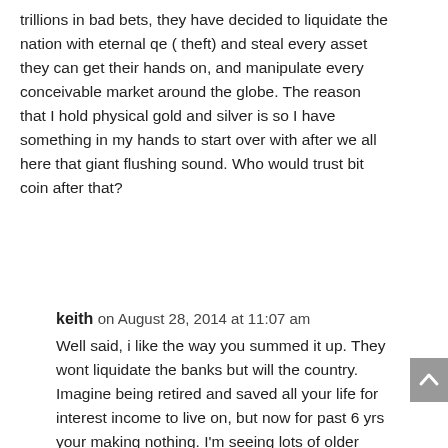trillions in bad bets, they have decided to liquidate the nation with eternal qe ( theft) and steal every asset they can get their hands on, and manipulate every conceivable market around the globe. The reason that I hold physical gold and silver is so I have something in my hands to start over with after we all here that giant flushing sound. Who would trust bit coin after that?
keith on August 28, 2014 at 11:07 am
Well said, i like the way you summed it up. They wont liquidate the banks but will the country. Imagine being retired and saved all your life for interest income to live on, but now for past 6 yrs your making nothing. I'm seeing lots of older people greeting me